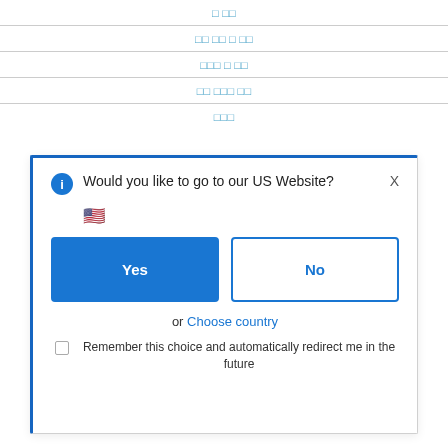□ □□
□□ □□ □ □□
□□□ □ □□
□□ □□□ □□
□□□
[Figure (screenshot): Modal dialog asking 'Would you like to go to our US Website?' with Yes (filled blue) and No (outlined blue) buttons, US flag emoji, 'or Choose country' link, and a remember checkbox.]